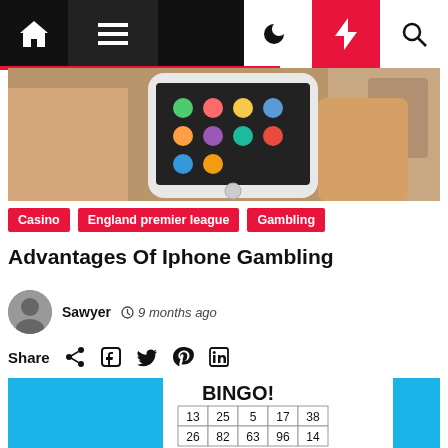Navigation bar with home, menu, moon, bolt, and search icons
[Figure (photo): Person holding a white iPhone with apps/gambling interface visible on screen]
Casino
England premier league
Gambling
Advantages Of Iphone Gambling
Sawyer  9 months ago
Share (share icon) (facebook icon) (twitter icon) (pinterest icon) (linkedin icon)
[Figure (photo): Bingo card graphic with BINGO! text and numbered grid showing 13, 25, 5, 17, 38 in first row and 26, 82, 63, 96, 14 in second row, on blue background]